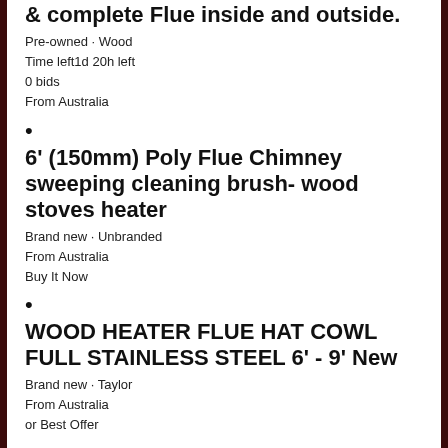& complete Flue inside and outside.
Pre-owned · Wood
Time left1d 20h left
0 bids
From Australia
•
6' (150mm) Poly Flue Chimney sweeping cleaning brush- wood stoves heater
Brand new · Unbranded
From Australia
Buy It Now
•
WOOD HEATER FLUE HAT COWL FULL STAINLESS STEEL 6' - 9' New
Brand new · Taylor
From Australia
or Best Offer
•
wood fire heater with flue/chimney